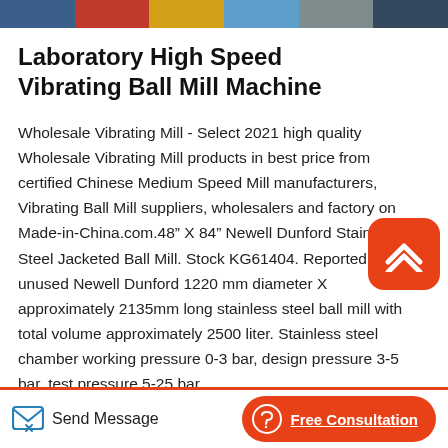[Figure (photo): Colorful product image strip showing laboratory ball mill machinery in multiple views]
Laboratory High Speed Vibrating Ball Mill Machine
Wholesale Vibrating Mill - Select 2021 high quality Wholesale Vibrating Mill products in best price from certified Chinese Medium Speed Mill manufacturers, Vibrating Ball Mill suppliers, wholesalers and factory on Made-in-China.com.48” X 84” Newell Dunford Stainless Steel Jacketed Ball Mill. Stock KG61404. Reportedly unused Newell Dunford 1220 mm diameter X approximately 2135mm long stainless steel ball mill with total volume approximately 2500 liter. Stainless steel chamber working pressure 0-3 bar, design pressure 3-5 bar, test pressure 5-25 bar.
Send Message   Free Consultation